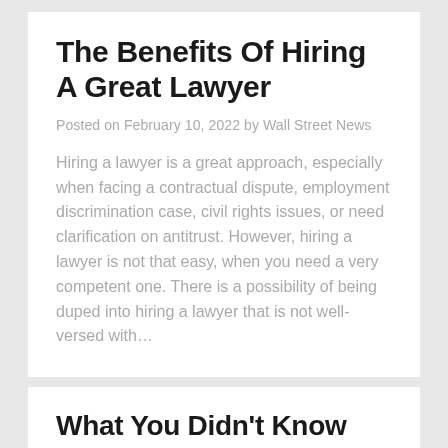The Benefits Of Hiring A Great Lawyer
Posted on February 10, 2022 by Wall Street News
Hiring a lawyer is a great approach, especially when facing a contractual dispute, employment discrimination case, civil rights issues, or need clarification on antitrust. However, hiring a lawyer is not that easy, when you need a very competent one. There is a possibility of being duped into hiring a lawyer that is not well-versed with…
What You Didn't Know